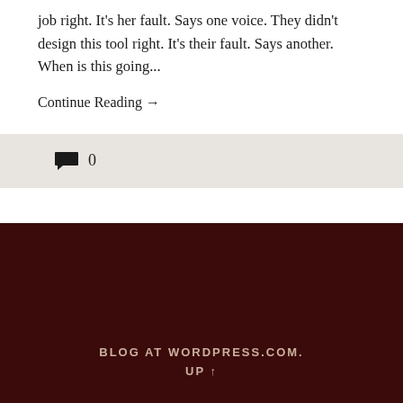job right. It's her fault. Says one voice. They didn't design this tool right. It's their fault. Says another. When is this going...
Continue Reading →
💬 0
BLOG AT WORDPRESS.COM.
UP ↑